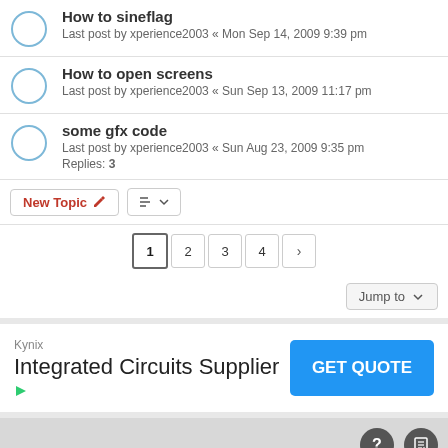How to sineflag
Last post by xperience2003 « Mon Sep 14, 2009 9:39 pm
How to open screens
Last post by xperience2003 « Sun Sep 13, 2009 11:17 pm
some gfx code
Last post by xperience2003 « Sun Aug 23, 2009 9:35 pm
Replies: 3
New Topic | Sort | 1 2 3 4 >
Jump to
[Figure (infographic): Advertisement for Kynix Integrated Circuits Supplier with GET QUOTE button]
ProLight Style by Ian Bradley
Powered by phpBB® Forum Software © phpBB Limited
Privacy | Terms